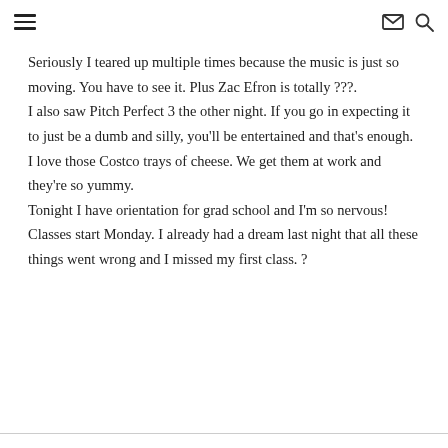≡  ✉ 🔍
Seriously I teared up multiple times because the music is just so moving. You have to see it. Plus Zac Efron is totally ???.
I also saw Pitch Perfect 3 the other night. If you go in expecting it to just be a dumb and silly, you'll be entertained and that's enough.
I love those Costco trays of cheese. We get them at work and they're so yummy.
Tonight I have orientation for grad school and I'm so nervous! Classes start Monday. I already had a dream last night that all these things went wrong and I missed my first class. ?